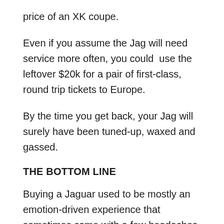price of an XK coupe.
Even if you assume the Jag will need service more often, you could  use the leftover $20k for a pair of first-class, round trip tickets to Europe.
By the time you get back, your Jag will surely have been tuned-up, waxed and gassed.
THE BOTTOM LINE
Buying a Jaguar used to be mostly an emotion-driven experience that sometimes came with a few headaches later on.